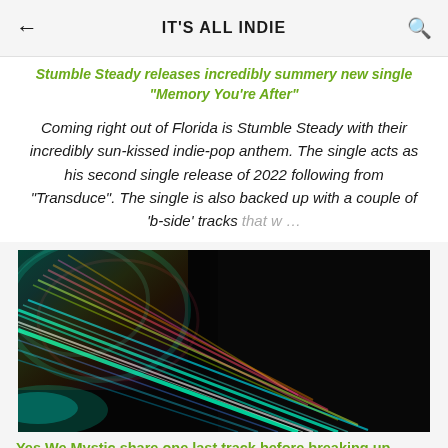IT'S ALL INDIE
Stumble Steady releases incredibly summery new single "Memory You're After"
Coming right out of Florida is Stumble Steady with their incredibly sun-kissed indie-pop anthem. The single acts as his second single release of 2022 following from "Transduce". The single is also backed up with a couple of 'b-side' tracks that w ...
[Figure (photo): Colorful light streaks (long exposure photography) on dark black background — rainbow-colored spinning lights.]
Yes We Mystic share one last track before breaking up, "Long